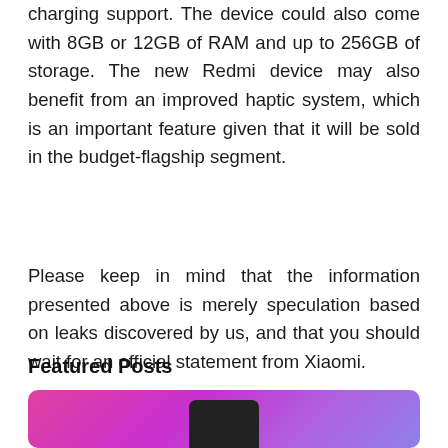charging support. The device could also come with 8GB or 12GB of RAM and up to 256GB of storage. The new Redmi device may also benefit from an improved haptic system, which is an important feature given that it will be sold in the budget-flagship segment.
Please keep in mind that the information presented above is merely speculation based on leaks discovered by us, and that you should wait for an official statement from Xiaomi.
Featured Posts
[Figure (photo): Featured post card with gradient pink/purple background and a dark smartphone silhouette at the bottom center]